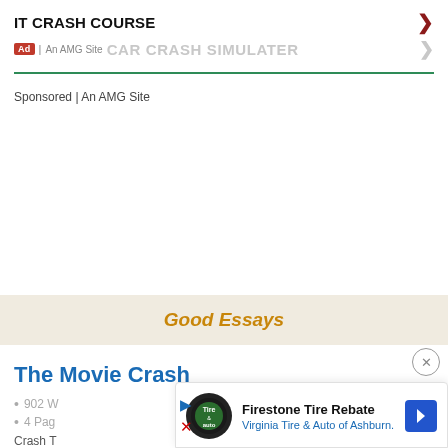IT CRASH COURSE
Ad | An AMG Site  CAR CRASH SIMULATER
Sponsored | An AMG Site
Good Essays
The Movie Crash
902 W...
4 Pag...
Crash T... hen the
[Figure (other): Firestone Tire Rebate ad with Virginia Tire & Auto of Ashburn logo and navigation arrow]